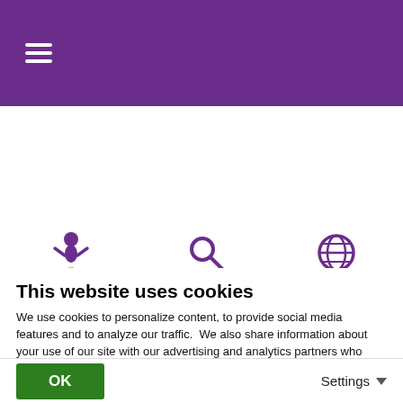[Figure (screenshot): Purple navigation top bar with white hamburger menu icon]
[Figure (screenshot): Icon navigation bar with BioLegend logo (figure with rays), search magnifying glass icon, and globe/language icon]
| RRID |  |
| --- | --- |
| RRID | AB_2876453 (BioLegend Cat. No. 127425)
AB_2876453 (BioLegend Cat. No. 127426) |
This website uses cookies
We use cookies to personalize content, to provide social media features and to analyze our traffic.  We also share information about your use of our site with our advertising and analytics partners who may combine it with other information that you've provided to them or that they've collected from your use of their services. You may turn off any cookies that are not required to run the website by clicking “Show Details” and unselecting cookies.
For more information on how we handle your personal data, view our Privacy Policy.